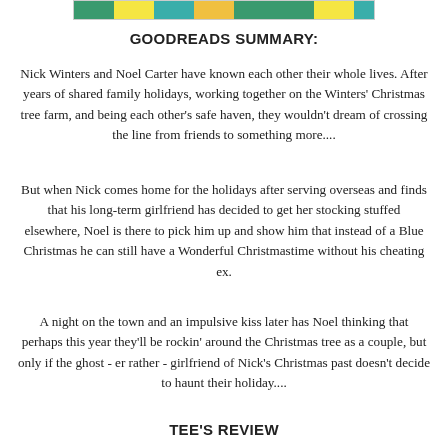[Figure (illustration): Top banner image with colorful striped pattern in green, yellow, and teal tones, partially visible at the top of the page]
GOODREADS SUMMARY:
Nick Winters and Noel Carter have known each other their whole lives. After years of shared family holidays, working together on the Winters' Christmas tree farm, and being each other's safe haven, they wouldn't dream of crossing the line from friends to something more....
But when Nick comes home for the holidays after serving overseas and finds that his long-term girlfriend has decided to get her stocking stuffed elsewhere, Noel is there to pick him up and show him that instead of a Blue Christmas he can still have a Wonderful Christmastime without his cheating ex.
A night on the town and an impulsive kiss later has Noel thinking that perhaps this year they'll be rockin' around the Christmas tree as a couple, but only if the ghost - er rather - girlfriend of Nick's Christmas past doesn't decide to haunt their holiday....
TEE'S REVIEW